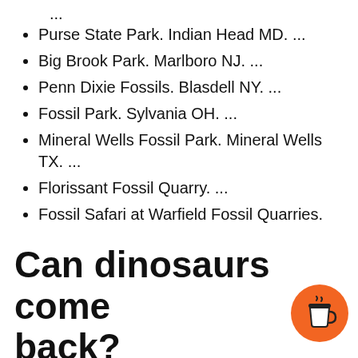...
Purse State Park. Indian Head MD. ...
Big Brook Park. Marlboro NJ. ...
Penn Dixie Fossils. Blasdell NY. ...
Fossil Park. Sylvania OH. ...
Mineral Wells Fossil Park. Mineral Wells TX. ...
Florissant Fossil Quarry. ...
Fossil Safari at Warfield Fossil Quarries.
Can dinosaurs come back?
The answer is YES. In fact they will return to the face of the earth in 2050. We found a pregnant T. rex fossil and had DNA in it this